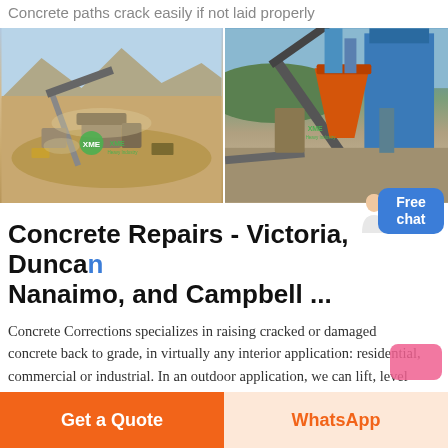Concrete paths crack easily if not laid properly
[Figure (photo): Two side-by-side photos of industrial stone crushing / quarry equipment with XME branding watermarks. Left image shows an open-pit quarry with machinery. Right image shows a large cone crusher with conveyor belt and blue silo in background.]
Concrete Repairs - Victoria, Duncan, Nanaimo, and Campbell ...
Concrete Corrections specializes in raising cracked or damaged concrete back to grade, in virtually any interior application: residential, commercial or industrial. In an outdoor application, we can lift, level and stabilize sidewalks, patios, stairs, garage floors, warehouse floors and parking surfaces.
Get a Quote  |  WhatsApp